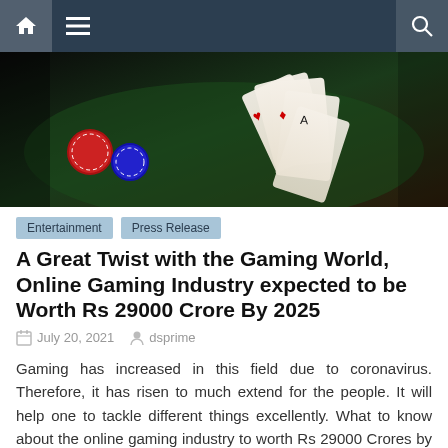Navigation bar with home, menu, and search icons
[Figure (photo): Close-up photo of playing cards and casino chips on a green gaming table, dark background with colorful card details]
Entertainment   Press Release
A Great Twist with the Gaming World, Online Gaming Industry expected to be Worth Rs 29000 Crore By 2025
July 20, 2021   dsprime
Gaming has increased in this field due to coronavirus. Therefore, it has risen to much extend for the people. It will help one to tackle different things excellently. What to know about the online gaming industry to worth Rs 29000 Crores by 2025? In FY21, Rs 13 600 crores were estimated. Of the overall sizes, [...]